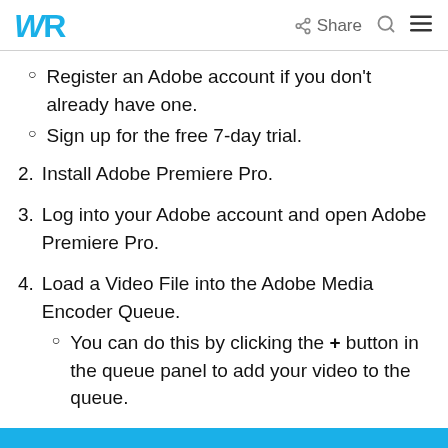WR | Share
Register an Adobe account if you don't already have one.
Sign up for the free 7-day trial.
2. Install Adobe Premiere Pro.
3. Log into your Adobe account and open Adobe Premiere Pro.
4. Load a Video File into the Adobe Media Encoder Queue.
You can do this by clicking the + button in the queue panel to add your video to the queue.
5. Choose a file format.
6. Choose a Quality Preset